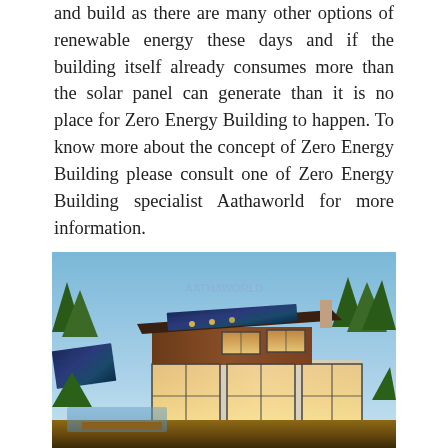and build as there are many other options of renewable energy these days and if the building itself already consumes more than the solar panel can generate than it is no place for Zero Energy Building to happen. To know more about the concept of Zero Energy Building please consult one of Zero Energy Building specialist Aathaworld for more information.
[Figure (photo): Modern house with solar panels on roof, large glass windows, surrounded by trees, with a pool in the foreground. The house features a contemporary flat-roof design with wood and white exterior.]